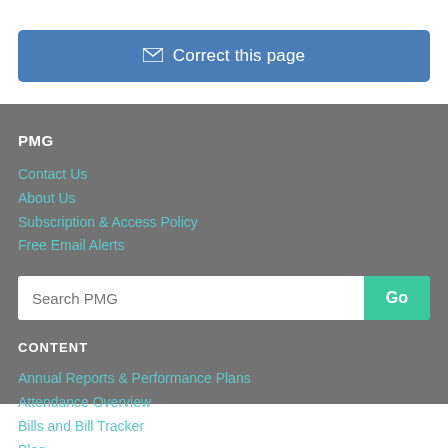✉ Correct this page
PMG
Contact Us
About Us
Subscription & Access Policy
Free Email Alerts
Search PMG
CONTENT
Annual Reports & Performance Plans
Attendance Overview
Bills and Bill Tracker
Blog